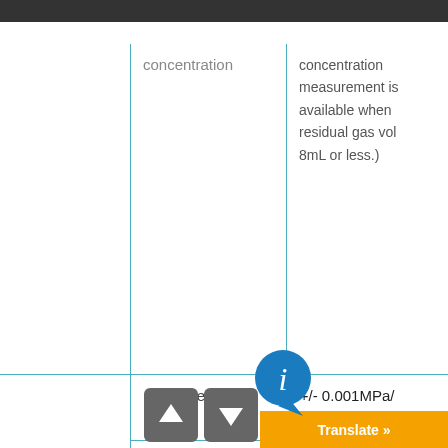|  | Parameter | Value |
| --- | --- | --- |
|  | concentration | concentration measurement is available when residual gas vol 8mL or less.) |
| MEASUREMENT ACCURACY | Pressure | +/- 0.001MPa / 0.01kgf/cm2G |
| MEASUREMENT ACCURACY | Temperature | +/- 0.05°C |
| MEASUREMENT ACCURACY | Residual gas volume | +/- 2% (for 5mL over and 30mL for the value |